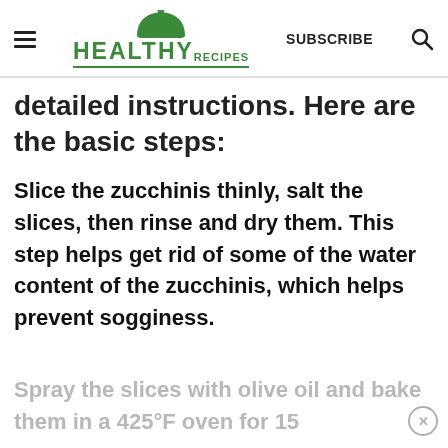HEALTHY RECIPES | SUBSCRIBE
detailed instructions. Here are the basic steps:
Slice the zucchinis thinly, salt the slices, then rinse and dry them. This step helps get rid of some of the water content of the zucchinis, which helps prevent sogginess.
Spray the slices with olive oil and bake them in a 425°F oven for 15